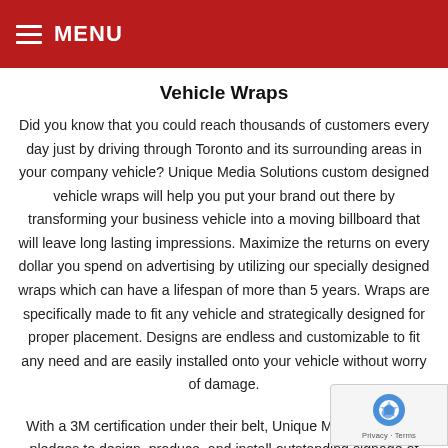MENU
Vehicle Wraps
Did you know that you could reach thousands of customers every day just by driving through Toronto and its surrounding areas in your company vehicle? Unique Media Solutions custom designed vehicle wraps will help you put your brand out there by transforming your business vehicle into a moving billboard that will leave long lasting impressions. Maximize the returns on every dollar you spend on advertising by utilizing our specially designed wraps which can have a lifespan of more than 5 years. Wraps are specifically made to fit any vehicle and strategically designed for proper placement. Designs are endless and customizable to fit any need and are easily installed onto your vehicle without worry of damage.
With a 3M certification under their belt, Unique Media Solutions pledges to design, produce, and install outstanding signage of any